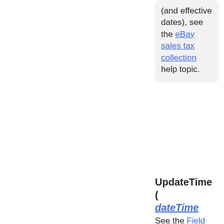(and effective dates), see the eBay sales tax collection help topic.
See the Field Index to learn which calls use ShippingIncludedInTa...
UpdateTime ( dateTime ) [0..1]